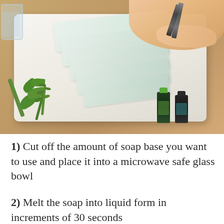[Figure (photo): Photo of hands cutting translucent white soap base blocks on a white tray with scissors. Fresh green herbs (parsley and rosemary) and two small essential oil bottles are placed beside the soap blocks on a wooden surface.]
1) Cut off the amount of soap base you want to use and place it into a microwave safe glass bowl
2) Melt the soap into liquid form in increments of 30 seconds